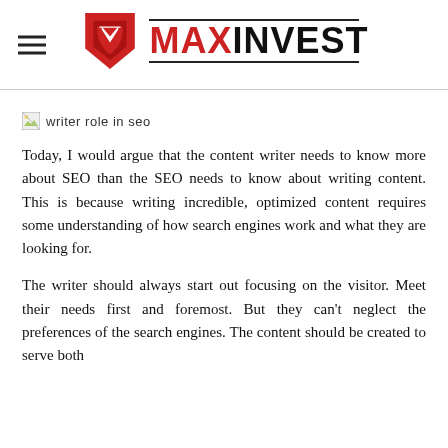MAXINVEST
[Figure (other): Broken image placeholder with alt text 'writer role in seo']
Today, I would argue that the content writer needs to know more about SEO than the SEO needs to know about writing content. This is because writing incredible, optimized content requires some understanding of how search engines work and what they are looking for.
The writer should always start out focusing on the visitor. Meet their needs first and foremost. But they can't neglect the preferences of the search engines. The content should be created to serve both